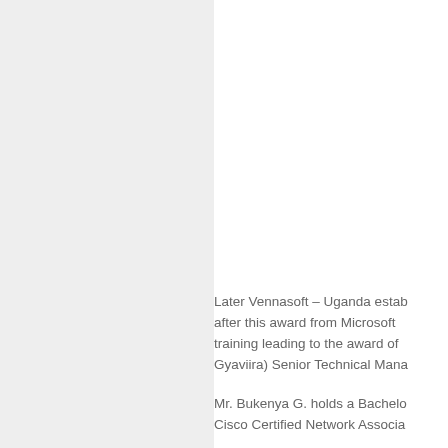Later Vennasoft – Uganda estab after this award from Microsoft training leading to the award of Gyaviira) Senior Technical Mana
Mr. Bukenya G. holds a Bachelo Cisco Certified Network Associa